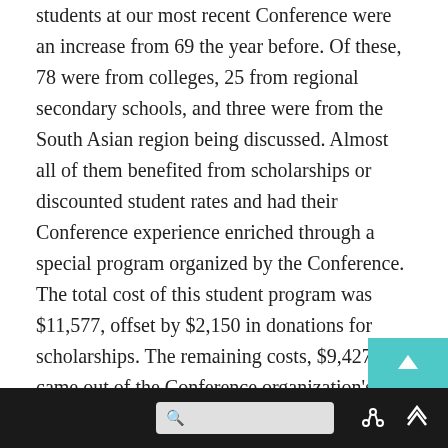students at our most recent Conference were an increase from 69 the year before. Of these, 78 were from colleges, 25 from regional secondary schools, and three were from the South Asian region being discussed. Almost all of them benefited from scholarships or discounted student rates and had their Conference experience enriched through a special program organized by the Conference. The total cost of this student program was $11,577, offset by $2,150 in donations for scholarships. The remaining costs, $9,427, came out of the Conference organization's own resources, reducing our ability to expand and improve this valuable and exciting program.

We are working to increase the student participation at each venue to up to 20% of the total attendance and to
[browser navigation bar]